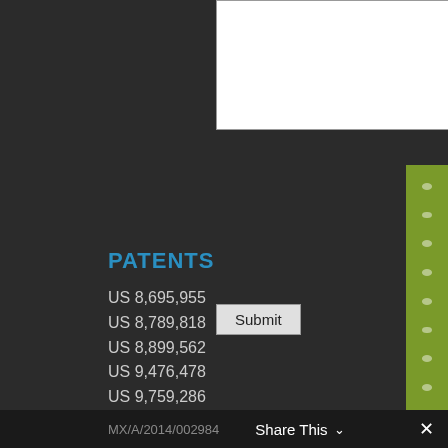[Figure (screenshot): White textarea input box with resize handle in bottom-right corner, on dark background]
Submit
PATENTS
US 8,695,955
US 8,789,818
US 8,899,562
US 9,476,478
US 9,759,286
CA 2843879
CA 2844972
China ZL201420111762.4
MX/A/2014/002984    Share This ∨    ✕